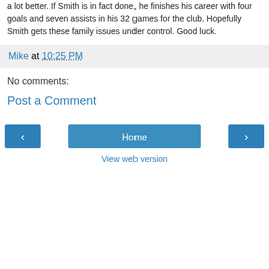a lot better. If Smith is in fact done, he finishes his career with four goals and seven assists in his 32 games for the club. Hopefully Smith gets these family issues under control. Good luck.
Mike at 10:25 PM
No comments:
Post a Comment
Home
View web version